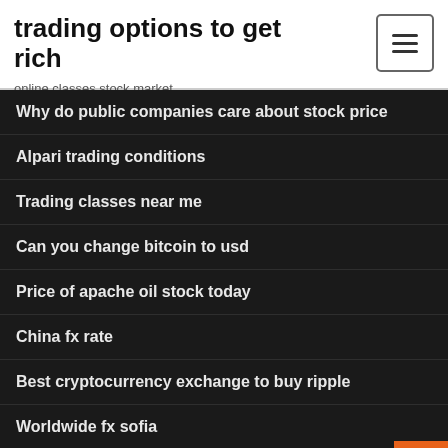trading options to get rich
online classes stock market
Why do public companies care about stock price
Alpari trading conditions
Trading classes near me
Can you change bitcoin to usd
Price of apache oil stock today
China fx rate
Best cryptocurrency exchange to buy ripple
Worldwide fx sofia
Best stocks to swing trade 2020
Social trade.biz login today task